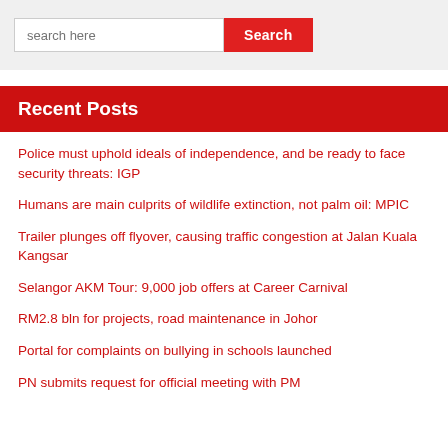search here
Police must uphold ideals of independence, and be ready to face security threats: IGP
Humans are main culprits of wildlife extinction, not palm oil: MPIC
Trailer plunges off flyover, causing traffic congestion at Jalan Kuala Kangsar
Selangor AKM Tour: 9,000 job offers at Career Carnival
RM2.8 bln for projects, road maintenance in Johor
Portal for complaints on bullying in schools launched
PN submits request for official meeting with PM